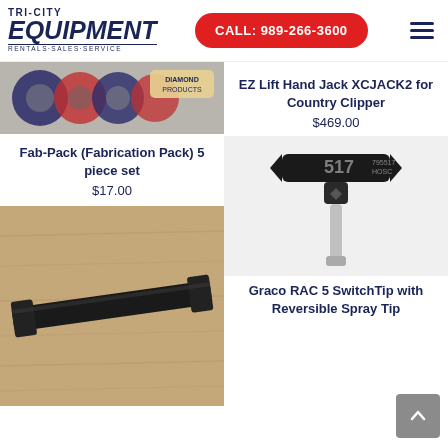Tri-City Equipment Rentals+Sales+Service | CALL: 989-266-3600
[Figure (photo): Diamond Products disc blades / cutting discs spread out on a surface, partial view cut off at top]
Fab-Pack (Fabrication Pack) 5 piece set
$17.00
EZ Lift Hand Jack XCJACK2 for Country Clipper
$469.00
[Figure (photo): Black metal mower blade on a wood surface]
[Figure (photo): Graco RAC 5 SwitchTip spray tip with T-bar handle, labeled 517]
Graco RAC 5 SwitchTip with Reversible Spray Tip